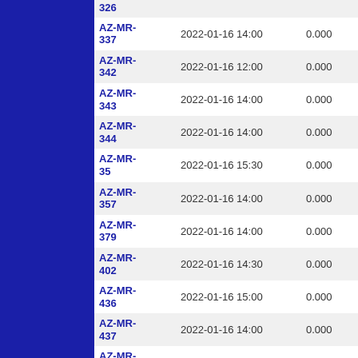| ID | Date/Time | Col3 | Col4 |
| --- | --- | --- | --- |
| 326 |  |  |  |
| AZ-MR-337 | 2022-01-16 14:00 | 0.000 | 24.000 |
| AZ-MR-342 | 2022-01-16 12:00 | 0.000 | 24.000 |
| AZ-MR-343 | 2022-01-16 14:00 | 0.000 | 24.000 |
| AZ-MR-344 | 2022-01-16 14:00 | 0.000 | 24.000 |
| AZ-MR-35 | 2022-01-16 15:30 | 0.000 | 24.000 |
| AZ-MR-357 | 2022-01-16 14:00 | 0.000 | 24.000 |
| AZ-MR-379 | 2022-01-16 14:00 | 0.000 | 24.000 |
| AZ-MR-402 | 2022-01-16 14:30 | 0.000 | 24.000 |
| AZ-MR-436 | 2022-01-16 15:00 | 0.000 | 24.000 |
| AZ-MR-437 | 2022-01-16 14:00 | 0.000 | 24.000 |
| AZ-MR-442 | 2022-01-16 14:00 | 0.000 | 24.000 |
| AZ-MR-448 | 2022-01-16 13:01 | 0.000 | 24.000 |
| AZ-MR-45 | 2022-01-16 14:00 | 0.000 | 24.000 |
| AZ-MR-454 | 2022-01-16 14:00 | 0.000 | 24.000 |
| AZ-MR-46 | 2022-01-16 14:00 | 0.000 | 24.000 |